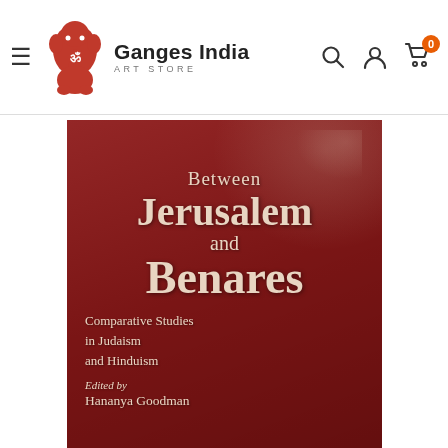Ganges India Art Store
[Figure (photo): Book cover of 'Between Jerusalem and Benares: Comparative Studies in Judaism and Hinduism', edited by Hananya Goodman. Red cover with white serif text on a textured dark red background.]